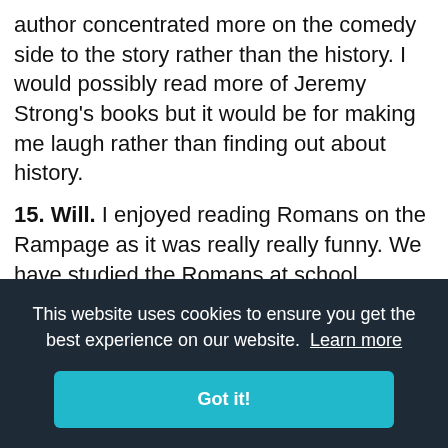author concentrated more on the comedy side to the story rather than the history. I would possibly read more of Jeremy Strong's books but it would be for making me laugh rather than finding out about history.
15. Will. I enjoyed reading Romans on the Rampage as it was really really funny. We have studied the Romans at school recently so I knew lots about them already but couldn't wait to find out more. The characters are really fun and they get in to lots of trouble, especially Scorcha as he seems really clumsy! The words are a bit tricky to understand but I felt that I learnt a bit about history. I really like chariot racing and like the big race at the end. I would like to read more stories by [Jeremy Strong] as [they are] funny as
This website uses cookies to ensure you get the best experience on our website. Learn more
Got it!